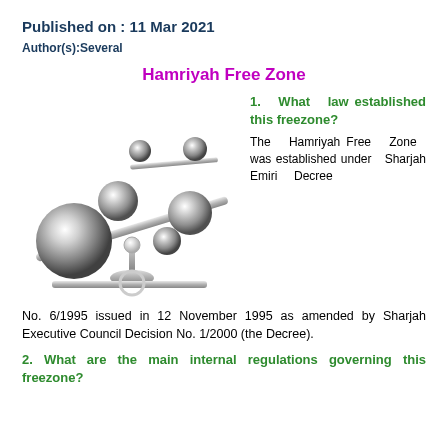Published on : 11 Mar 2021
Author(s):Several
Hamriyah Free Zone
[Figure (illustration): A balance/scale illustration showing metallic chrome balls of different sizes balanced on a seesaw-like lever structure, representing legal balance or justice.]
1. What law established this freezone?
The Hamriyah Free Zone was established under Sharjah Emiri Decree No. 6/1995 issued in 12 November 1995 as amended by Sharjah Executive Council Decision No. 1/2000 (the Decree).
2. What are the main internal regulations governing this freezone?